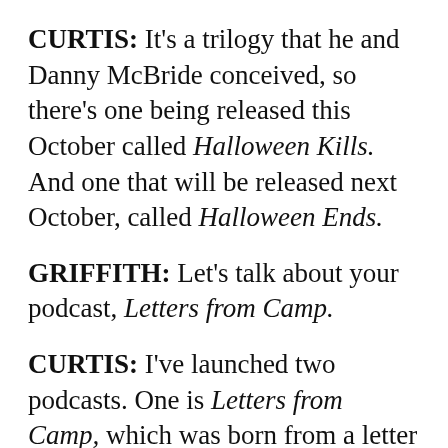CURTIS: It's a trilogy that he and Danny McBride conceived, so there's one being released this October called Halloween Kills. And one that will be released next October, called Halloween Ends.
GRIFFITH: Let's talk about your podcast, Letters from Camp.
CURTIS: I've launched two podcasts. One is Letters from Camp, which was born from a letter that I received from my goddaughter, which she wrote from camp. Her mother had never sent it, and my friend Lisa Birnbach sent